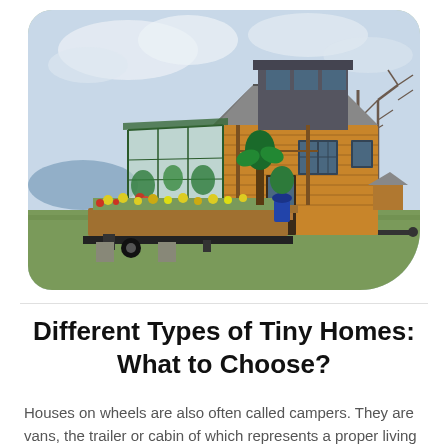[Figure (photo): A small wooden tiny home on wheels with a greenhouse attachment on the left side, raised garden beds with flowers, and wooden steps leading to the front door. The home has a metal roof and large windows. Bare trees and a body of water are visible in the background.]
Different Types of Tiny Homes: What to Choose?
Houses on wheels are also often called campers. They are vans, the trailer or cabin of which represents a proper living